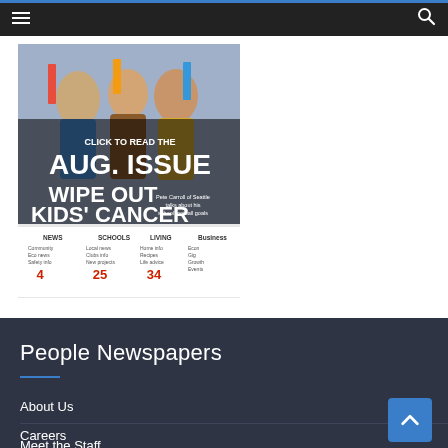Navigation bar with hamburger menu and search icon
[Figure (screenshot): Magazine cover for August issue with headline 'CLICK TO READ THE AUG. ISSUE' and 'WIPE OUT KIDS' CANCER', showing group of people in colorful outfits, with a table of contents at the bottom listing NEWS (4), SCHOOLS (25), LIVING (34)]
People Newspapers
About Us
Careers
Meet the Staff